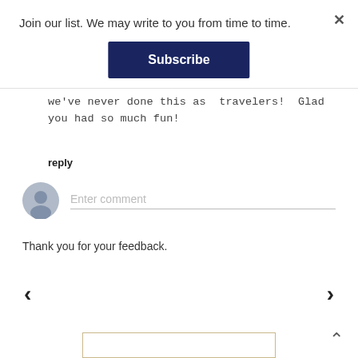Join our list. We may write to you from time to time.
Subscribe
we've never done this as travelers! Glad you had so much fun!
reply
Enter comment
Thank you for your feedback.
‹
›